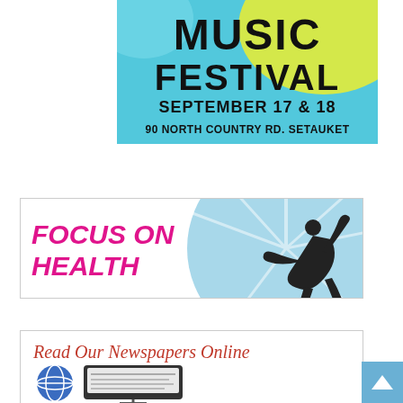[Figure (illustration): Music Festival advertisement banner with cyan/teal background, yellow-green blob, text: MUSIC FESTIVAL SEPTEMBER 17 & 18, 90 NORTH COUNTRY RD. SETAUKET]
[Figure (illustration): Focus on Health banner with light blue circle, yoga silhouette, and pink bold italic text FOCUS ON HEALTH]
[Figure (illustration): Read Our Newspapers Online banner in red italic serif font with globe and tablet/screen graphics]